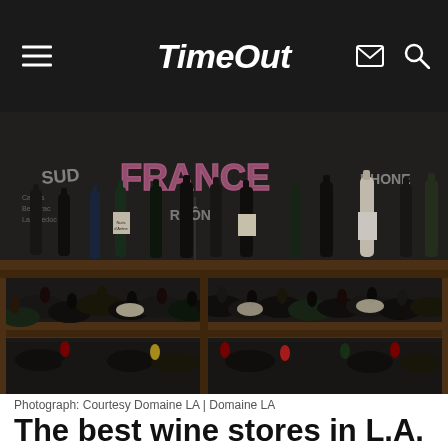TimeOut
[Figure (photo): Interior of a wine store showing rows of wine bottles on wooden shelves with a dark chalkboard background displaying 'FRANCE', 'RHONE', 'SUD' and other wine regions written in chalk]
Photograph: Courtesy Domaine LA | Domaine LA
The best wine stores in L.A.